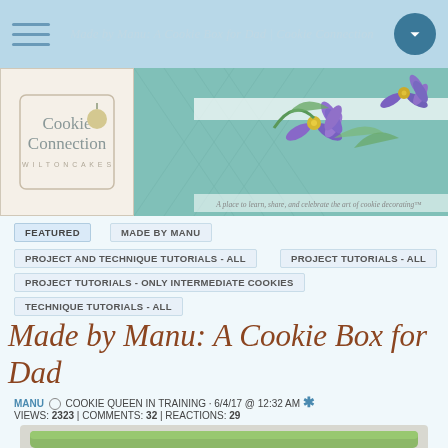Made by Manu: A Cookie Box for Dad | Cookie Connection
[Figure (logo): Cookie Connection logo with flower icon]
[Figure (photo): Cookie Connection banner with purple clematis flowers on teal background. Tagline: A place to learn, share, and celebrate the art of cookie decorating™]
FEATURED
MADE BY MANU
PROJECT AND TECHNIQUE TUTORIALS - ALL
PROJECT TUTORIALS - ALL
PROJECT TUTORIALS - ONLY INTERMEDIATE COOKIES
TECHNIQUE TUTORIALS - ALL
Made by Manu: A Cookie Box for Dad
MANU ○ COOKIE QUEEN IN TRAINING · 6/4/17 @ 12:32 AM ✱
VIEWS: 2323 | COMMENTS: 32 | REACTIONS: 29
[Figure (photo): Green fondant cookie box for Dad, top portion visible against light gray background]